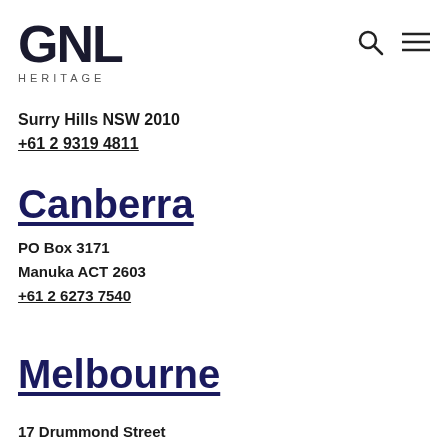[Figure (logo): GNL Heritage logo with bold block letters GNL and text HERITAGE below]
Surry Hills NSW 2010
+61 2 9319 4811
Canberra
PO Box 3171
Manuka ACT 2603
+61 2 6273 7540
Melbourne
17 Drummond Street